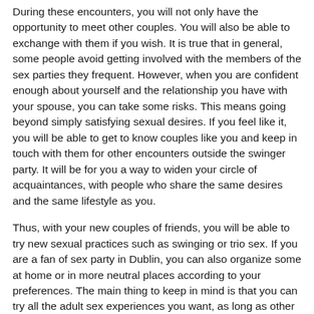During these encounters, you will not only have the opportunity to meet other couples. You will also be able to exchange with them if you wish. It is true that in general, some people avoid getting involved with the members of the sex parties they frequent. However, when you are confident enough about yourself and the relationship you have with your spouse, you can take some risks. This means going beyond simply satisfying sexual desires. If you feel like it, you will be able to get to know couples like you and keep in touch with them for other encounters outside the swinger party. It will be for you a way to widen your circle of acquaintances, with people who share the same desires and the same lifestyle as you.
Thus, with your new couples of friends, you will be able to try new sexual practices such as swinging or trio sex. If you are a fan of sex party in Dublin, you can also organize some at home or in more neutral places according to your preferences. The main thing to keep in mind is that you can try all the adult sex experiences you want, as long as other couples agree. This choice may in some ways interfere with your desire to remain completely anonymous, but you just have to be on the same